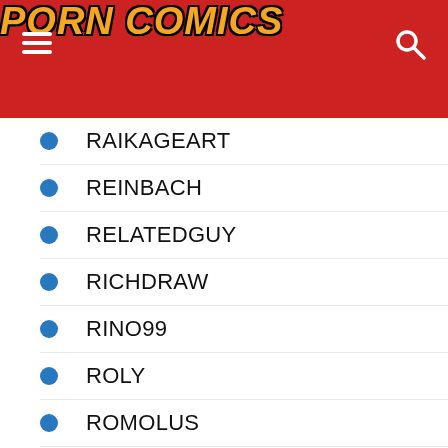PORN COMICS
RAIKAGEART
REINBACH
RELATEDGUY
RICHDRAW
RINO99
ROLY
ROMOLUS
Romulo Mancin
Roumgu
SALTYXODIUM
SANO-BR